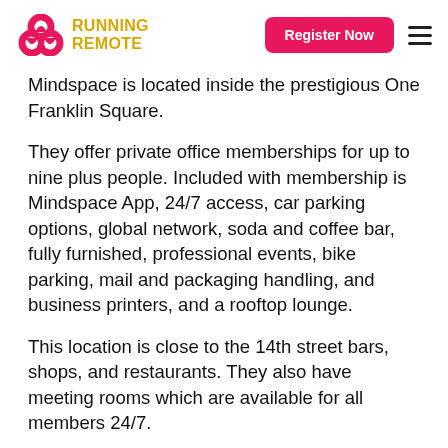Running Remote | Register Now
Mindspace is located inside the prestigious One Franklin Square.
They offer private office memberships for up to nine plus people. Included with membership is Mindspace App, 24/7 access, car parking options, global network, soda and coffee bar, fully furnished, professional events, bike parking, mail and packaging handling, and business printers, and a rooftop lounge.
This location is close to the 14th street bars, shops, and restaurants. They also have meeting rooms which are available for all members 24/7.